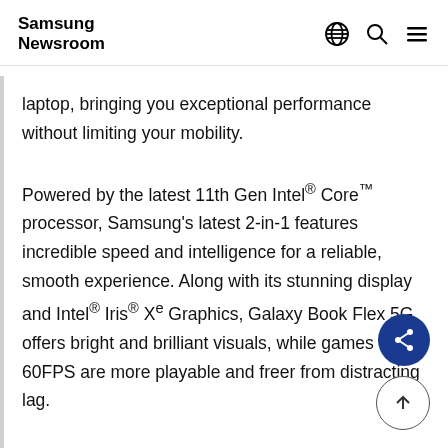Samsung Newsroom
laptop, bringing you exceptional performance without limiting your mobility. Powered by the latest 11th Gen Intel® Core™ processor, Samsung's latest 2-in-1 features incredible speed and intelligence for a reliable, smooth experience. Along with its stunning display and Intel® Iris® Xe Graphics, Galaxy Book Flex 5G offers bright and brilliant visuals, while games up to 60FPS are more playable and freer from distracting lag.
To ensure your device can keep working at